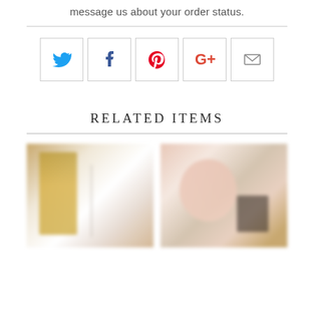message us about your order status.
RELATED ITEMS
[Figure (photo): Two blurred product/lifestyle photos shown side by side as related items thumbnails.]